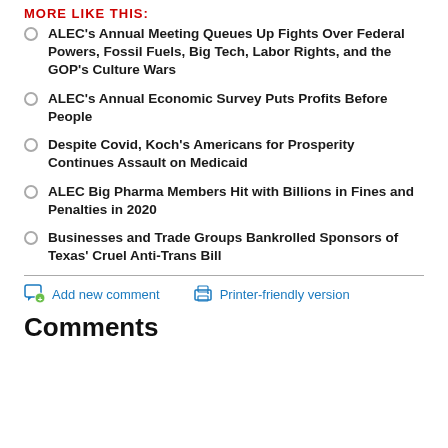MORE LIKE THIS:
ALEC's Annual Meeting Queues Up Fights Over Federal Powers, Fossil Fuels, Big Tech, Labor Rights, and the GOP's Culture Wars
ALEC's Annual Economic Survey Puts Profits Before People
Despite Covid, Koch's Americans for Prosperity Continues Assault on Medicaid
ALEC Big Pharma Members Hit with Billions in Fines and Penalties in 2020
Businesses and Trade Groups Bankrolled Sponsors of Texas' Cruel Anti-Trans Bill
Add new comment   Printer-friendly version
Comments